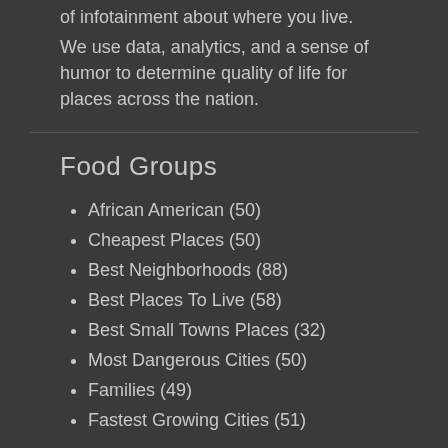of infotainment about where you live.

We use data, analytics, and a sense of humor to determine quality of life for places across the nation.
Food Groups
African American (50)
Cheapest Places (50)
Best Neighborhoods (88)
Best Places To Live (58)
Best Small Towns Places (32)
Most Dangerous Cities (50)
Families (49)
Fastest Growing Cities (51)